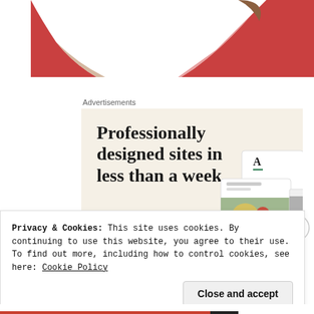[Figure (illustration): Partial circular illustration with red, pink, beige and brown color segments visible at top of page]
Advertisements
[Figure (screenshot): Advertisement banner with beige background. Large serif headline reads 'Professionally designed sites in less than a week'. Green 'Explore options' button. Website mockup screenshots on the right side.]
Privacy & Cookies: This site uses cookies. By continuing to use this website, you agree to their use.
To find out more, including how to control cookies, see here: Cookie Policy
Close and accept